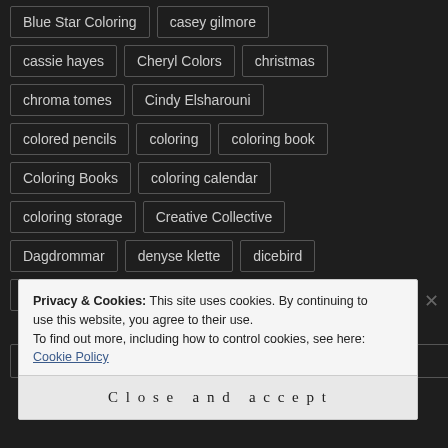Blue Star Coloring
casey gilmore
cassie hayes
Cheryl Colors
christmas
chroma tomes
Cindy Elsharouni
colored pencils
coloring
coloring book
Coloring Books
coloring calendar
coloring storage
Creative Collective
Dagdrommar
denyse klette
dicebird
DomDomx
doodle
Privacy & Cookies: This site uses cookies. By continuing to use this website, you agree to their use.
To find out more, including how to control cookies, see here: Cookie Policy
Close and accept